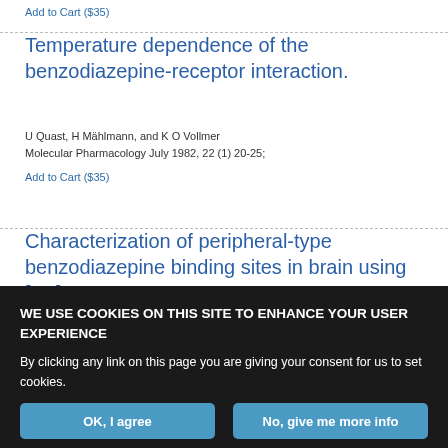Add to Cart ($35)
Temperature dependence of the benzodiazepine-receptor interaction.
U Quast, H Mählmann, and K O Vollmer
Molecular Pharmacology July 1982, 22 (1) 20-25;
Add to Cart ($35)
Characterization of peripheral-type benzodiazepine binding sites in brain using [3H]Ro 5-4864.
WE USE COOKIES ON THIS SITE TO ENHANCE YOUR USER EXPERIENCE
By clicking any link on this page you are giving your consent for us to set cookies.
OK, I agree
No, give me more info